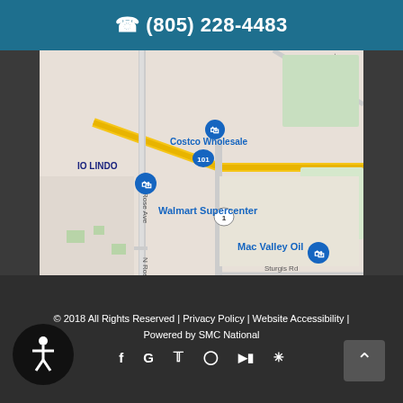(805) 228-4483
[Figure (map): Google Maps screenshot showing area around Walmart Supercenter, Costco Wholesale, Mac Valley Oil near N Rose Ave and Highway 101 in Oxnard, CA area. Labels visible: Costco Wholesale, IO LINDO, Walmart Supercenter, N Rose Ave, Colonia Rd, Santa Clara Ave, Mac Valley Oil, Sturgis Rd, The Murphy, route markers 101 and 1.]
© 2018 All Rights Reserved | Privacy Policy | Website Accessibility | Powered by SMC National